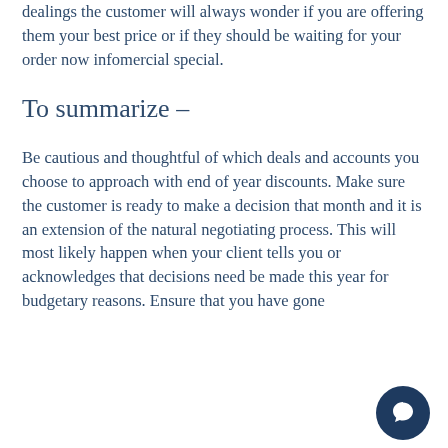dealings the customer will always wonder if you are offering them your best price or if they should be waiting for your order now infomercial special.
To summarize –
Be cautious and thoughtful of which deals and accounts you choose to approach with end of year discounts. Make sure the customer is ready to make a decision that month and it is an extension of the natural negotiating process. This will most likely happen when your client tells you or acknowledges that decisions need be made this year for budgetary reasons. Ensure that you have gone